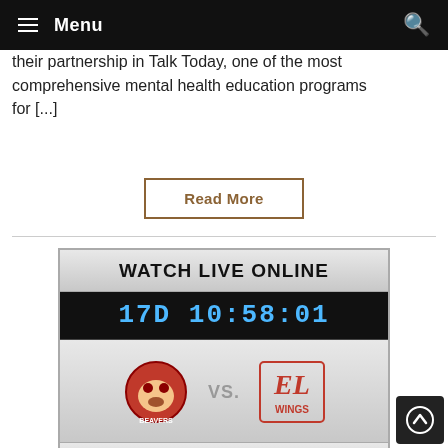Menu
and found ... Mental Health ... announce their partnership in Talk Today, one of the most comprehensive mental health education programs for [...]
Read More
[Figure (screenshot): Watch Live Online widget showing countdown timer '17D 10:58:01', Beavers vs EL Wings team logos, and HockeyTV logo]